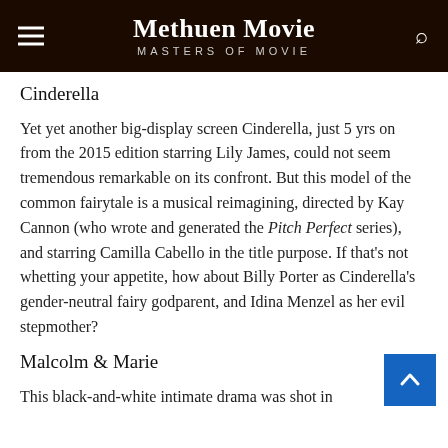Methuen Movie MASTERS OF MOVIE
Cinderella
Yet yet another big-display screen Cinderella, just 5 yrs on from the 2015 edition starring Lily James, could not seem tremendous remarkable on its confront. But this model of the common fairytale is a musical reimagining, directed by Kay Cannon (who wrote and generated the Pitch Perfect series), and starring Camilla Cabello in the title purpose. If that's not whetting your appetite, how about Billy Porter as Cinderella's gender-neutral fairy godparent, and Idina Menzel as her evil stepmother?
Malcolm & Marie
This black-and-white intimate drama was shot in